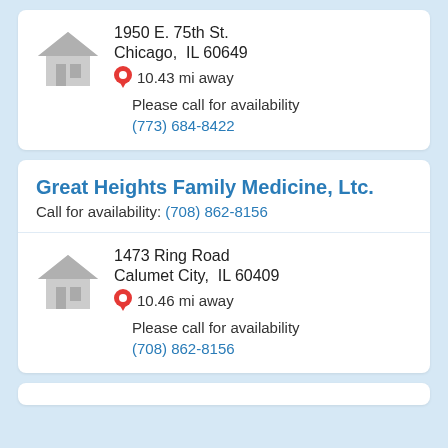1950 E. 75th St.
Chicago, IL 60649
10.43 mi away
Please call for availability
(773) 684-8422
Great Heights Family Medicine, Ltc.
Call for availability: (708) 862-8156
1473 Ring Road
Calumet City, IL 60409
10.46 mi away
Please call for availability
(708) 862-8156